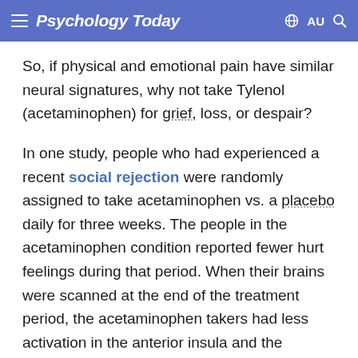Psychology Today — AU
So, if physical and emotional pain have similar neural signatures, why not take Tylenol (acetaminophen) for grief, loss, or despair?
In one study, people who had experienced a recent social rejection were randomly assigned to take acetaminophen vs. a placebo daily for three weeks. The people in the acetaminophen condition reported fewer hurt feelings during that period. When their brains were scanned at the end of the treatment period, the acetaminophen takers had less activation in the anterior insula and the anterior cingulate cortex.